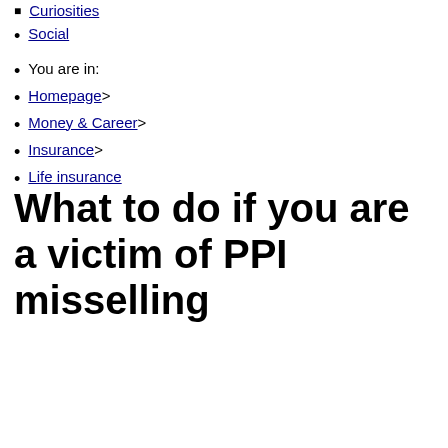■ Curiosities
• Social
• You are in:
• Homepage >
• Money & Career >
• Insurance >
• Life insurance
What to do if you are a victim of PPI misselling